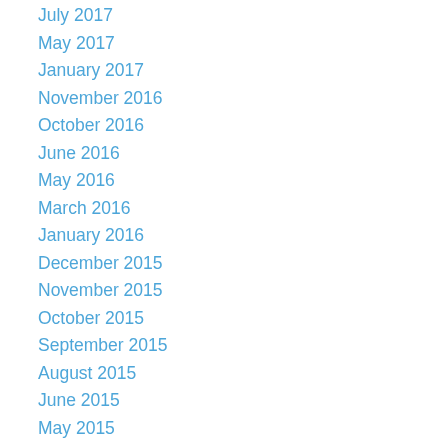July 2017
May 2017
January 2017
November 2016
October 2016
June 2016
May 2016
March 2016
January 2016
December 2015
November 2015
October 2015
September 2015
August 2015
June 2015
May 2015
April 2015
February 2015
January 2015
December 2014